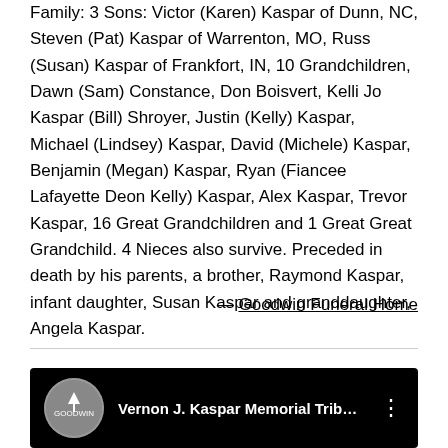Family: 3 Sons: Victor (Karen) Kaspar of Dunn, NC, Steven (Pat) Kaspar of Warrenton, MO, Russ (Susan) Kaspar of Frankfort, IN, 10 Grandchildren, Dawn (Sam) Constance, Don Boisvert, Kelli Jo Kaspar (Bill) Shroyer, Justin (Kelly) Kaspar, Michael (Lindsey) Kaspar, David (Michele) Kaspar, Benjamin (Megan) Kaspar, Ryan (Fiancee Lafayette Deon Kelly) Kaspar, Alex Kaspar, Trevor Kaspar, 16 Great Grandchildren and 1 Great Great Grandchild. 4 Nieces also survive. Preceded in death by his parents, a brother, Raymond Kaspar, infant daughter, Susan Kaspar and granddaughter, Angela Kaspar.
— Goodwin Funeral Home
[Figure (screenshot): YouTube video thumbnail showing Vernon J. Kaspar Memorial Tribute with Goodwin Funeral Home logo on dark background]